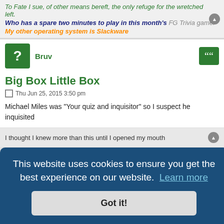To Fate I sue, of other means bereft, the only refuge for the wretched left.
Who has a spare two minutes to play in this month's FG Trivia game!
My other operating system is Slackware
Bruv
Big Box Little Box
Thu Jun 25, 2015 3:50 pm
Michael Miles was "Your quiz and inquisitor" so I suspect he inquisited
I thought I knew more than this until I opened my mouth
This website uses cookies to ensure you get the best experience on our website. Learn more
Got it!
Privacy | Terms